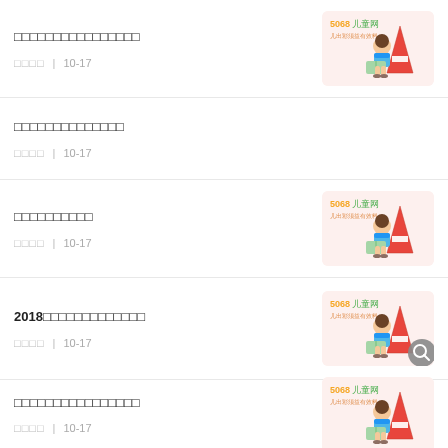□□□□□□□□□□□□□□□□
□□□□  |  10-17
□□□□□□□□□□□□□□
□□□□  |  10-17
□□□□□□□□□□
□□□□  |  10-17
2018□□□□□□□□□□□□□
□□□□  |  10-17
□□□□□□□□□□□□□□□□
□□□□  |  10-17